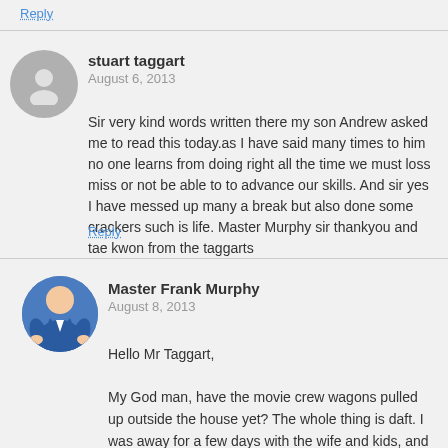Reply
stuart taggart
August 6, 2013
Sir very kind words written there my son Andrew asked me to read this today.as I have said many times to him no one learns from doing right all the time we must loss miss or not be able to to advance our skills. And sir yes I have messed up many a break but also done some crackers such is life. Master Murphy sir thankyou and tae kwon from the taggarts
Reply
Master Frank Murphy
August 8, 2013
Hello Mr Taggart,

My God man, have the movie crew wagons pulled up outside the house yet? The whole thing is daft. I was away for a few days with the wife and kids, and came back today and could